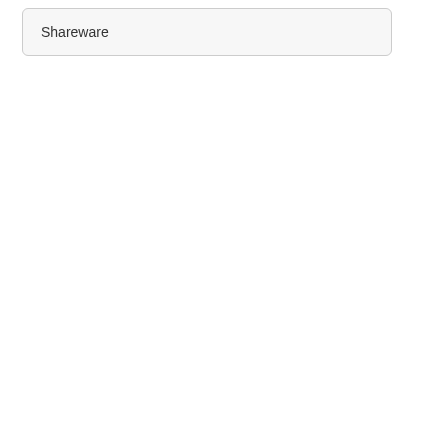Shareware
moisturize and p smooth the skin.
583.0 KB |Sharewa
» details
» Lotions 1.
Body Lotion com make the skin so airborne bact
583.0 KB |Sharewa
» details
Last sharew
» GolfMonit
Keep track of yo for the course / t 1.0.4 features in
3549KB |Sharewar
» details
» Dynamic I
Write Your Revie organizer for Win